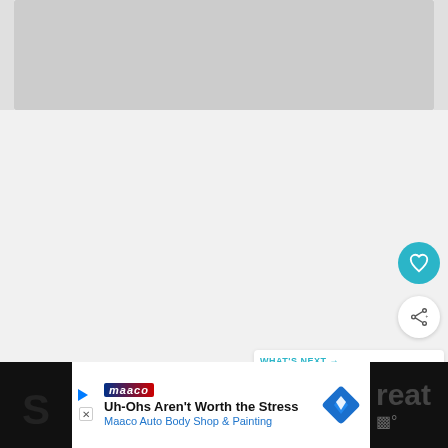[Figure (screenshot): Main content area of a video/recipe page. Top shows a partially visible video thumbnail strip (gray). Large white/light gray content area below. Floating action buttons on right: a teal heart/like button and a white share button. 'WHAT'S NEXT' card in lower right showing 'Green Smoothie 101' with a circular thumbnail of green smoothie ingredients.]
WHAT'S NEXT → Green Smoothie 101
[Figure (screenshot): Advertisement bar at the bottom. Left and right sides are dark/black. Center white panel shows: play/close icons, Maaco logo, headline 'Uh-Ohs Aren't Worth the Stress', subtext 'Maaco Auto Body Shop & Painting', and a blue diamond navigation icon on the right. Right dark panel shows partial text 'reat' and thermometer icon with degree symbol.]